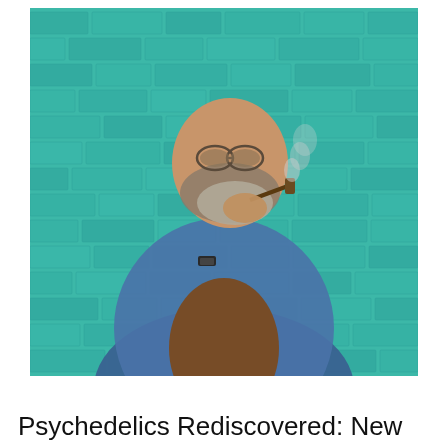[Figure (photo): An older man with a gray beard and round sunglasses, wearing a blue jacket over a brown shirt, smoking a pipe. He is standing in front of a teal/turquoise painted brick wall. Smoke is visible rising from the pipe.]
Psychedelics Rediscovered: New